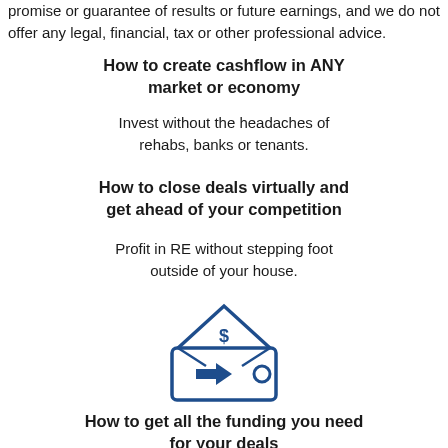promise or guarantee of results or future earnings, and we do not offer any legal, financial, tax or other professional advice.
How to create cashflow in ANY market or economy
Invest without the headaches of rehabs, banks or tenants.
How to close deals virtually and get ahead of your competition
Profit in RE without stepping foot outside of your house.
[Figure (illustration): Icon of a wallet with a house/envelope shape on top, an arrow pointing right, and a coin symbol, drawn in dark blue outline style]
How to get all the funding you need for your deals